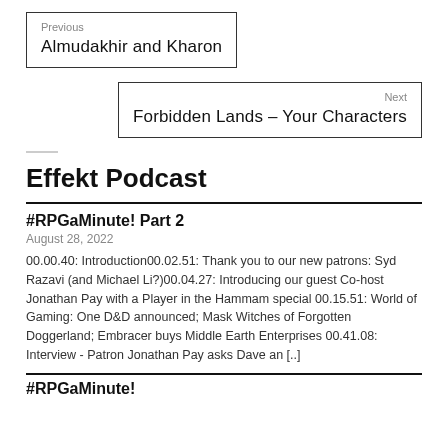Previous
Almudakhir and Kharon
Next
Forbidden Lands – Your Characters
Effekt Podcast
#RPGaMinute! Part 2
August 28, 2022
00.00.40: Introduction00.02.51: Thank you to our new patrons: Syd Razavi (and Michael Li?)00.04.27: Introducing our guest Co-host Jonathan Pay with a Player in the Hammam special 00.15.51: World of Gaming: One D&D announced; Mask Witches of Forgotten Doggerland; Embracer buys Middle Earth Enterprises 00.41.08: Interview - Patron Jonathan Pay asks Dave an [..]
#RPGaMinute!